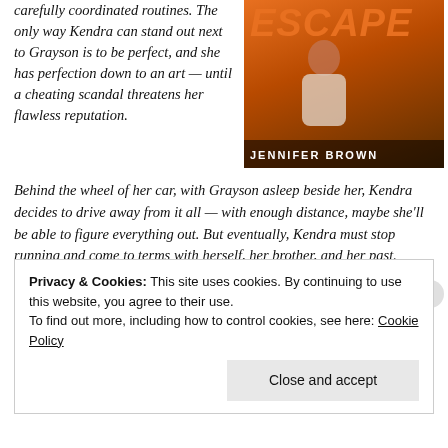carefully coordinated routines. The only way Kendra can stand out next to Grayson is to be perfect, and she has perfection down to an art — until a cheating scandal threatens her flawless reputation.
[Figure (illustration): Book cover of 'Perfect Escape' by Jennifer Brown, showing orange text on a warm-toned background with a person silhouette]
Behind the wheel of her car, with Grayson asleep beside her, Kendra decides to drive away from it all — with enough distance, maybe she'll be able to figure everything out. But eventually, Kendra must stop running and come to terms with herself, her brother, and her past.
Privacy & Cookies: This site uses cookies. By continuing to use this website, you agree to their use.
To find out more, including how to control cookies, see here: Cookie Policy